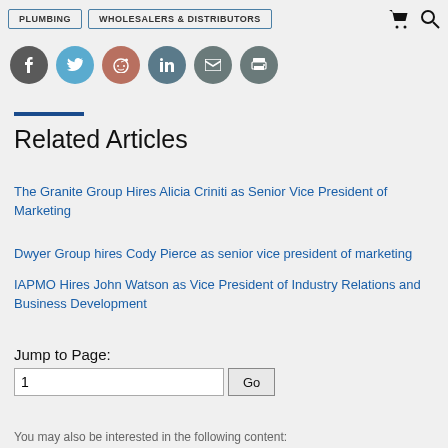PLUMBING | WHOLESALERS & DISTRIBUTORS
[Figure (other): Social sharing icons: Facebook (dark gray), Twitter (blue), Reddit (pinkish-brown), LinkedIn (gray), Email (gray), Print (gray)]
Related Articles
The Granite Group Hires Alicia Criniti as Senior Vice President of Marketing
Dwyer Group hires Cody Pierce as senior vice president of marketing
IAPMO Hires John Watson as Vice President of Industry Relations and Business Development
Jump to Page:
1  Go
You may also be interested in the following content: